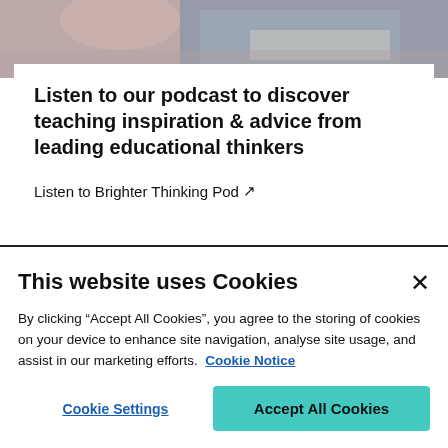[Figure (photo): Partial photo of a person working at a desk with a laptop, blurred/cropped at top of page]
Listen to our podcast to discover teaching inspiration & advice from leading educational thinkers
Listen to Brighter Thinking Pod ↗
This website uses Cookies
By clicking “Accept All Cookies”, you agree to the storing of cookies on your device to enhance site navigation, analyse site usage, and assist in our marketing efforts. Cookie Notice
Cookie Settings | Accept All Cookies